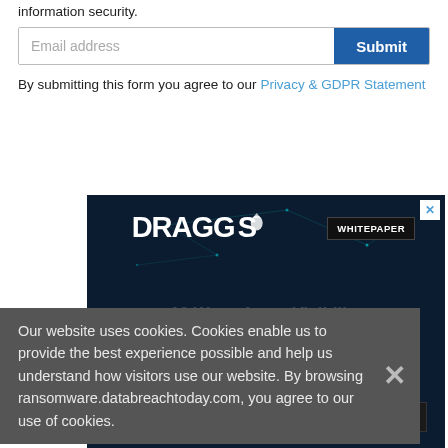information security.
[Figure (screenshot): Email address input field with Submit button (dark blue)]
By submitting this form you agree to our Privacy & GDPR Statement
[Figure (screenshot): Dragos whitepaper advertisement banner with dark background and teal network lines, showing title '10 Ways Asset Visibility Builds the Foundation for OT Cybersecurity' with a download button]
Our website uses cookies. Cookies enable us to provide the best experience possible and help us understand how visitors use our website. By browsing ransomware.databreachtoday.com, you agree to our use of cookies.